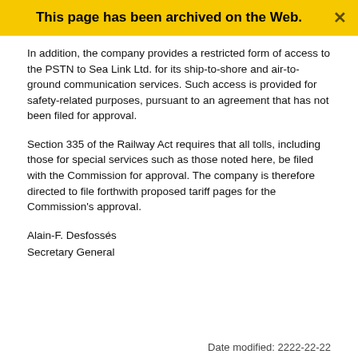This page has been archived on the Web.
In addition, the company provides a restricted form of access to the PSTN to Sea Link Ltd. for its ship-to-shore and air-to-ground communication services. Such access is provided for safety-related purposes, pursuant to an agreement that has not been filed for approval.
Section 335 of the Railway Act requires that all tolls, including those for special services such as those noted here, be filed with the Commission for approval. The company is therefore directed to file forthwith proposed tariff pages for the Commission's approval.
Alain-F. Desfossés
Secretary General
Date modified: 2222-22-22